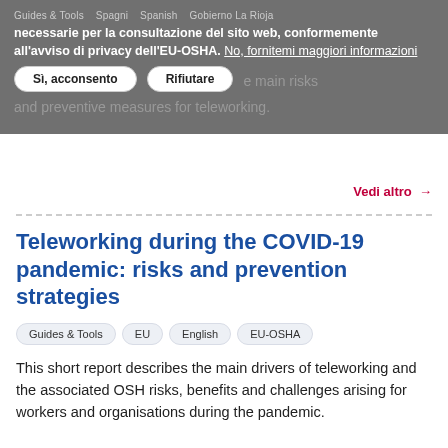necessarie per la consultazione del sito web, conformemente all'avviso di privacy dell'EU-OSHA. No, fornitemi maggiori informazioni
Guides & Tools   Spagni   Spanish   Gobierno La Rioja
This sheet provides the main risks and preventive measures for teleworking.
Vedi altro →
Teleworking during the COVID-19 pandemic: risks and prevention strategies
Guides & Tools   EU   English   EU-OSHA
This short report describes the main drivers of teleworking and the associated OSH risks, benefits and challenges arising for workers and organisations during the pandemic.